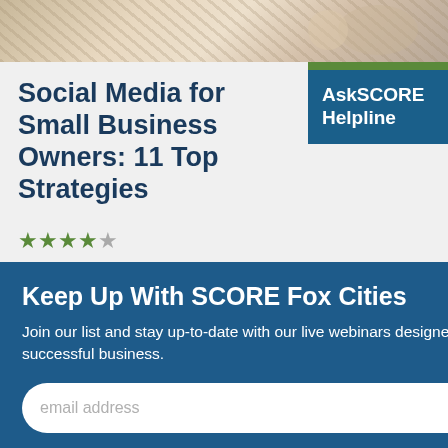[Figure (photo): Top portion of a decorative/lifestyle photo, appears to show tableware or home goods]
Social Media for Small Business Owners: 11 Top Strategies
[Figure (logo): AskSCORE Helpline blue badge in top right corner]
[Figure (infographic): 4.5 out of 5 star rating shown in green]
Keep Up With SCORE Fox Cities
Join our list and stay up-to-date with our live webinars designed to help you start and grow a successful business.
[Figure (photo): Bottom photo of a smiling woman in a red top with braided hair, sitting in what appears to be a creative workspace with plants and a clothing mannequin with colorful garments]